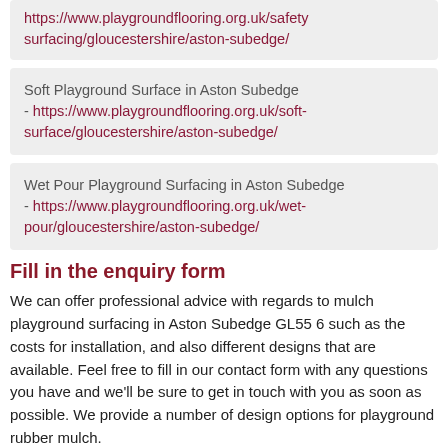https://www.playgroundflooring.org.uk/safety surfacing/gloucestershire/aston-subedge/
Soft Playground Surface in Aston Subedge - https://www.playgroundflooring.org.uk/soft-surface/gloucestershire/aston-subedge/
Wet Pour Playground Surfacing in Aston Subedge - https://www.playgroundflooring.org.uk/wet-pour/gloucestershire/aston-subedge/
Fill in the enquiry form
We can offer professional advice with regards to mulch playground surfacing in Aston Subedge GL55 6 such as the costs for installation, and also different designs that are available. Feel free to fill in our contact form with any questions you have and we'll be sure to get in touch with you as soon as possible. We provide a number of design options for playground rubber mulch.
Send us over the details of your enquiry through our contact form and we can